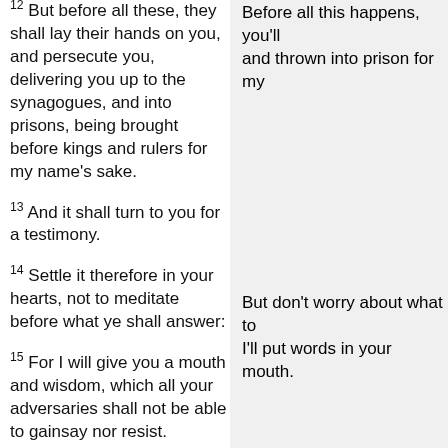12 But before all these, they shall lay their hands on you, and persecute you, delivering you up to the synagogues, and into prisons, being brought before kings and rulers for my name's sake.
Before all this happens, you'll be arrested and thrown into prison for my sake.
13 And it shall turn to you for a testimony.
14 Settle it therefore in your hearts, not to meditate before what ye shall answer:
But don't worry about what to say— I'll put words in your mouth.
15 For I will give you a mouth and wisdom, which all your adversaries shall not be able to gainsay nor resist.
16 And ye shall be betrayed both by...
You'll be betrayed by your pa...